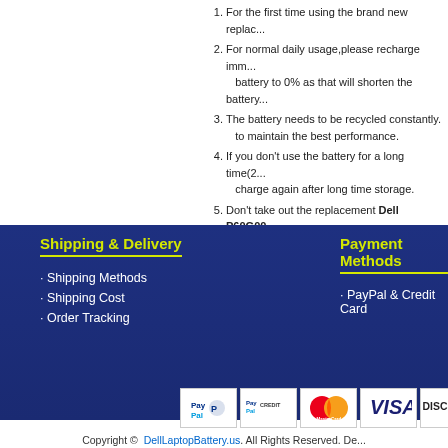1. For the first time using the brand new replace...
2. For normal daily usage,please recharge imm... battery to 0% as that will shorten the battery...
3. The battery needs to be recycled constantly... to maintain the best performance.
4. If you don't use the battery for a long time(2... charge again after long time storage.
5. Don't take out the replacement Dell P60G00...
6. When discharging, don't discharge to 3% or...
Shipping & Delivery
· Shipping Methods
· Shipping Cost
· Order Tracking
Payment Methods
· PayPal & Credit Card
[Figure (logo): Payment method logos: PayPal, PayPal Credit, MasterCard, VISA, Discover]
Copyright © DellLaptopBattery.us. All Rights Reserved. De...